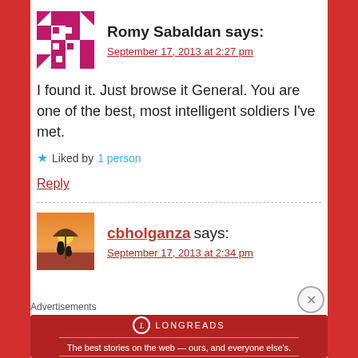[Figure (illustration): Magenta/pink pixel-art style avatar icon for Romy Sabaldan]
Romy Sabaldan says:
September 17, 2013 at 2:27 pm
I found it. Just browse it General. You are one of the best, most intelligent soldiers I've met.
★ Liked by 1 person
Reply
[Figure (photo): Photo of a person sitting under an umbrella at sunset]
cbholganza says:
September 17, 2013 at 2:34 pm
Advertisements
[Figure (illustration): Longreads advertisement banner: The best stories on the web — ours, and everyone else's.]